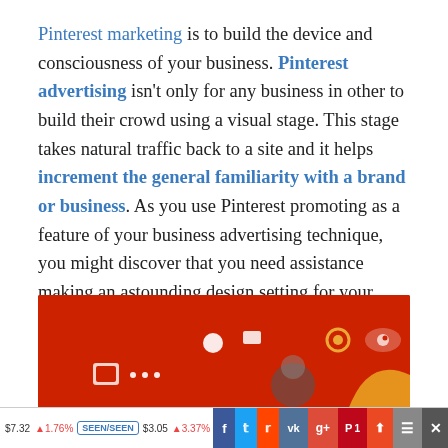Pinterest marketing is to build the device and consciousness of your business. Pinterest advertising isn't only for any business in other to build their crowd using a visual stage. This stage takes natural traffic back to a site and it helps increment the general familiarity with a brand or business. As you use Pinterest promoting as a feature of your business advertising technique, you might discover that you need assistance making an astounding design setting for your Pinterest account or in any event, making the right substance.
[Figure (illustration): Red banner with social media icons and decorative circular elements visible at the bottom of the page]
$7.32 ▲ 1.76% SEEN/SEEN $3.05 ▲ 3.37% Gase/C4G3 [social share buttons: Facebook, Twitter, Reddit, VK, Google+, Pinterest 1, StumbleUpon, menu, close]